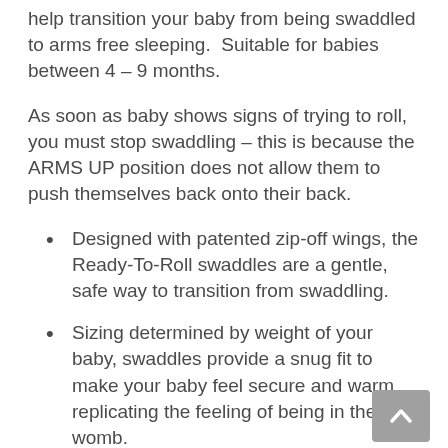help transition your baby from being swaddled to arms free sleeping.  Suitable for babies between 4 – 9 months.
As soon as baby shows signs of trying to roll, you must stop swaddling – this is because the ARMS UP position does not allow them to push themselves back onto their back.
Designed with patented zip-off wings, the Ready-To-Roll swaddles are a gentle, safe way to transition from swaddling.
Sizing determined by weight of your baby, swaddles provide a snug fit to make your baby feel secure and warm replicating the feeling of being in the womb.
Certified hip-healthy design allows the recommended flexion for hips and legs.